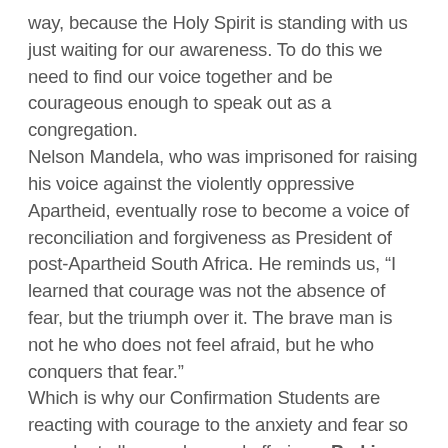way, because the Holy Spirit is standing with us just waiting for our awareness. To do this we need to find our voice together and be courageous enough to speak out as a congregation.
Nelson Mandela, who was imprisoned for raising his voice against the violently oppressive Apartheid, eventually rose to become a voice of reconciliation and forgiveness as President of post-Apartheid South Africa. He reminds us, “I learned that courage was not the absence of fear, but the triumph over it. The brave man is not he who does not feel afraid, but he who conquers that fear.”
Which is why our Confirmation Students are reacting with courage to the anxiety and fear so prevalent all around us and offering a Parking Lot Peace Day. We will worship at home, sharing Communion with the elements we find in our own homes, and then try a fellowship experiment this Sunday, June 7. Please drop by between 1-6 to see the imaginative ways our